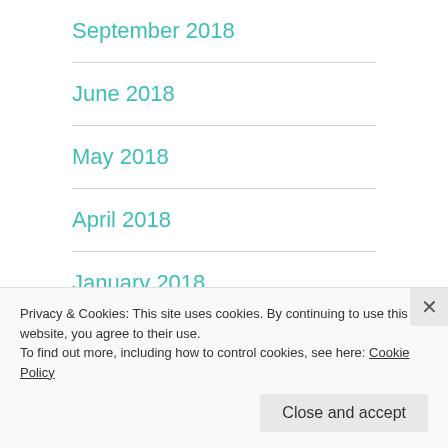September 2018
June 2018
May 2018
April 2018
January 2018
December 2017
Privacy & Cookies: This site uses cookies. By continuing to use this website, you agree to their use.
To find out more, including how to control cookies, see here: Cookie Policy